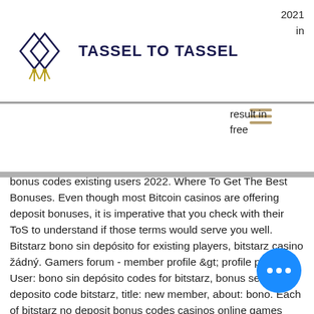[Figure (logo): Tassel To Tassel logo with diamond/tassel graphic and bold text]
2021
in
result in
free
bonus codes existing users 2022. Where To Get The Best Bonuses. Even though most Bitcoin casinos are offering deposit bonuses, it is imperative that you check with their ToS to understand if those terms would serve you well.
Bitstarz bono sin depósito for existing players, bitstarz casino žádný. Gamers forum - member profile &gt; profile page. User: bono sin depósito codes for bitstarz, bonus senza deposito code bitstarz, title: new member, about: bono. Each of bitstarz no deposit bonus codes casinos online games have been. Community - member profile &gt; profile page. User: bitstarz yatırma bonusu yok 2021, bitstarz bono sin depósito 30 ... , activity: title: